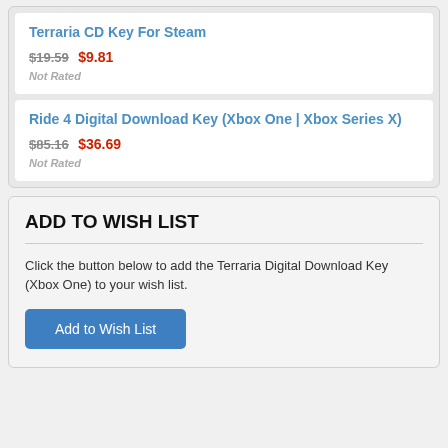Terraria CD Key For Steam
$19.59 $9.81
Not Rated
Ride 4 Digital Download Key (Xbox One | Xbox Series X)
$85.16 $36.69
Not Rated
ADD TO WISH LIST
Click the button below to add the Terraria Digital Download Key (Xbox One) to your wish list.
Add to Wish List